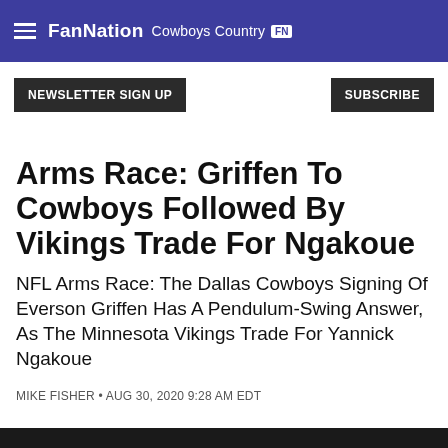FanNation Cowboys Country FN
NEWSLETTER SIGN UP
SUBSCRIBE
Arms Race: Griffen To Cowboys Followed By Vikings Trade For Ngakoue
NFL Arms Race: The Dallas Cowboys Signing Of Everson Griffen Has A Pendulum-Swing Answer, As The Minnesota Vikings Trade For Yannick Ngakoue
MIKE FISHER • AUG 30, 2020 9:28 AM EDT